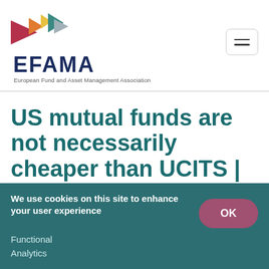[Figure (logo): EFAMA logo with geometric arrow shapes in red, orange, yellow, teal, and grey, alongside the text 'EFAMA' and subtitle 'European Fund and Asset Management Association']
US mutual funds are not necessarily cheaper than UCITS | EFAMA Market Insights No. 8
We use cookies on this site to enhance your user experience
Functional
Analytics